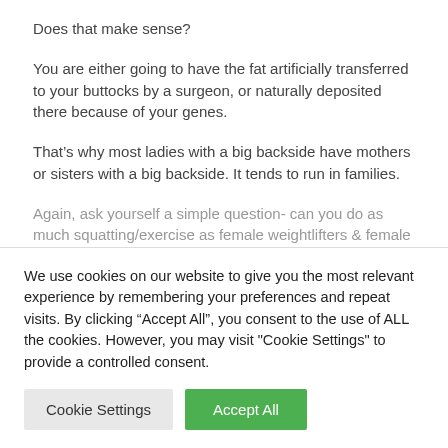Does that make sense?
You are either going to have the fat artificially transferred to your buttocks by a surgeon, or naturally deposited there because of your genes.
That’s why most ladies with a big backside have mothers or sisters with a big backside. It tends to run in families.
Again, ask yourself a simple question- can you do as much squatting/exercise as female weightlifters & female athletes? Do they have big buttocks?
We use cookies on our website to give you the most relevant experience by remembering your preferences and repeat visits. By clicking “Accept All”, you consent to the use of ALL the cookies. However, you may visit "Cookie Settings" to provide a controlled consent.